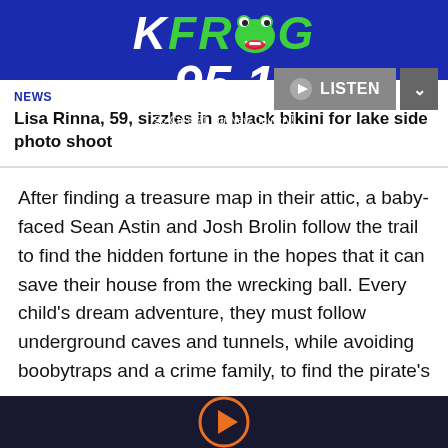[Figure (logo): KFROG 95.1 radio station logo with frog face, white and green text on dark blue background, with LISTEN button and navigation chevrons]
NEWS
Lisa Rinna, 59, sizzles in a black bikini for lake side photo shoot
After finding a treasure map in their attic, a baby-faced Sean Astin and Josh Brolin follow the trail to find the hidden fortune in the hopes that it can save their house from the wrecking ball. Every child's dream adventure, they must follow underground caves and tunnels, while avoiding boobytraps and a crime family, to find the pirate's
[Figure (other): Orange circular play button on dark navy background at the bottom of the page]